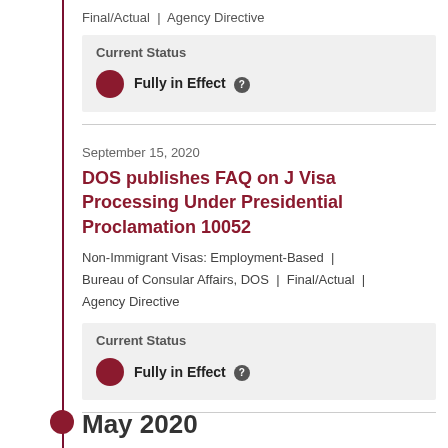Final/Actual | Agency Directive
Current Status
Fully in Effect
September 15, 2020
DOS publishes FAQ on J Visa Processing Under Presidential Proclamation 10052
Non-Immigrant Visas: Employment-Based | Bureau of Consular Affairs, DOS | Final/Actual | Agency Directive
Current Status
Fully in Effect
May 2020